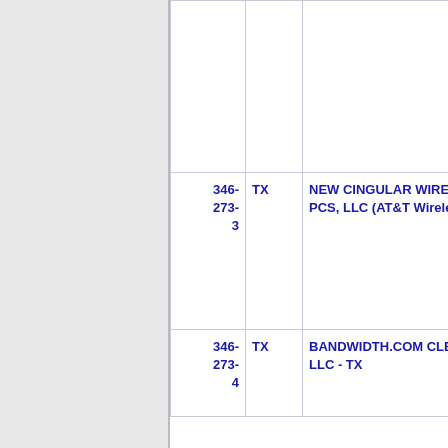| Number | State | Name | Value |
| --- | --- | --- | --- |
|  |  |  |  |
| 346-273-3 | TX | NEW CINGULAR WIRELESS PCS, LLC (AT&T Wireless) | 6 |
| 346-273-4 | TX | BANDWIDTH.COM CLEC, LLC - TX | 0 |